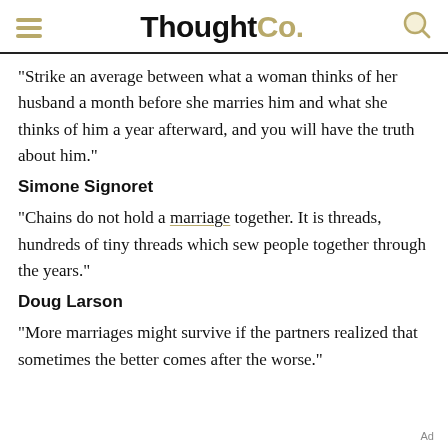ThoughtCo.
"Strike an average between what a woman thinks of her husband a month before she marries him and what she thinks of him a year afterward, and you will have the truth about him."
Simone Signoret
"Chains do not hold a marriage together. It is threads, hundreds of tiny threads which sew people together through the years."
Doug Larson
"More marriages might survive if the partners realized that sometimes the better comes after the worse."
Ad